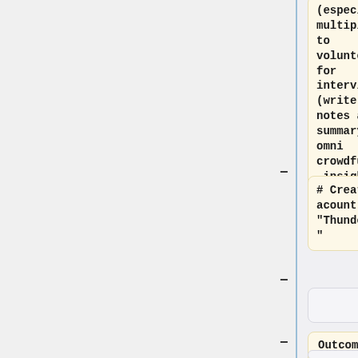(especially multiple) to volunteers for interview (write up notes and a summary for omni crowdfunding insight)
# Create acount with "Thunderclap"
Outcomes:
====Key====